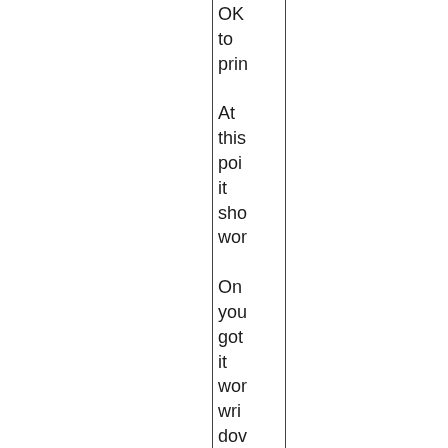OK to prin At this poi it sho wor On you got it wor wri dov all the set you did tha